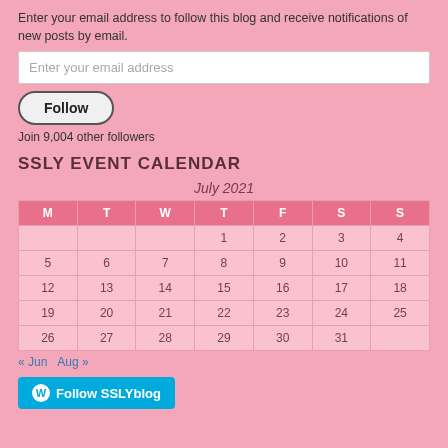Enter your email address to follow this blog and receive notifications of new posts by email.
Enter your email address
Follow
Join 9,004 other followers
SSLY EVENT CALENDAR
| M | T | W | T | F | S | S |
| --- | --- | --- | --- | --- | --- | --- |
|  |  |  | 1 | 2 | 3 | 4 |
| 5 | 6 | 7 | 8 | 9 | 10 | 11 |
| 12 | 13 | 14 | 15 | 16 | 17 | 18 |
| 19 | 20 | 21 | 22 | 23 | 24 | 25 |
| 26 | 27 | 28 | 29 | 30 | 31 |  |
« Jun  Aug »
Follow SSLYblog